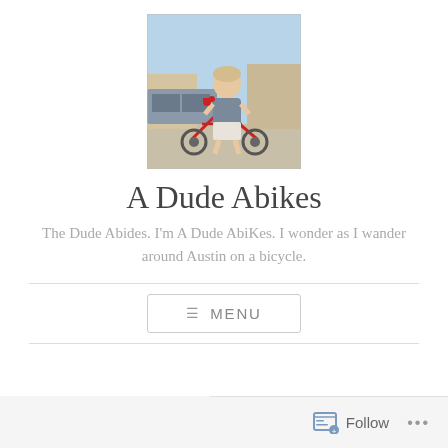[Figure (photo): Vintage photograph of a young child standing with a red bicycle outdoors in a suburban setting]
A Dude Abikes
The Dude Abides. I'm A Dude AbiKes. I wonder as I wander around Austin on a bicycle.
≡ MENU
Follow ...